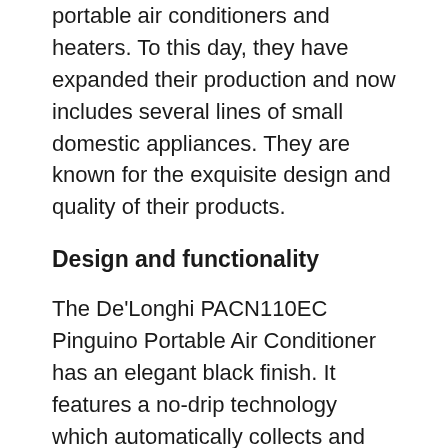portable air conditioners and heaters. To this day, they have expanded their production and now includes several lines of small domestic appliances. They are known for the exquisite design and quality of their products.
Design and functionality
The De'Longhi PACN110EC Pinguino Portable Air Conditioner has an elegant black finish. It features a no-drip technology which automatically collects and recycles condensation within the unit – preventing leaks. It has a lighted display that is easy to use and features three fan speeds. It also allows you to adjust the thermostat and